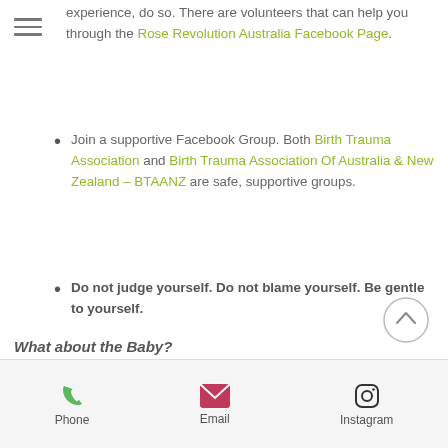experience, do so. There are volunteers that can help you through the Rose Revolution Australia Facebook Page.
Join a supportive Facebook Group. Both Birth Trauma Association and Birth Trauma Association Of Australia & New Zealand – BTAANZ are safe, supportive groups.
Do not judge yourself. Do not blame yourself. Be gentle to yourself.
What about the Baby?
Phone  Email  Instagram